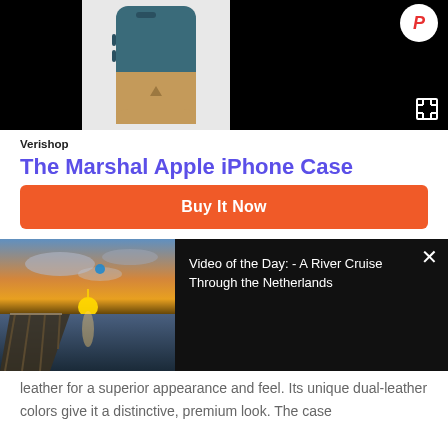[Figure (photo): Product image row showing phone case. Left panel is black, center panel shows a two-tone leather iPhone case (teal/blue top half and tan bottom half) on light gray background, right panel is black with expand icon and circular logo in top right.]
Verishop
The Marshal Apple iPhone Case
Buy It Now
[Figure (photo): Video thumbnail showing a sunset over a body of water viewed from a pier/deck, with a blue kite visible in the sky. Overlaid with text: Video of the Day: - A River Cruise Through the Netherlands]
leather for a superior appearance and feel. Its unique dual-leather colors give it a distinctive, premium look. The case